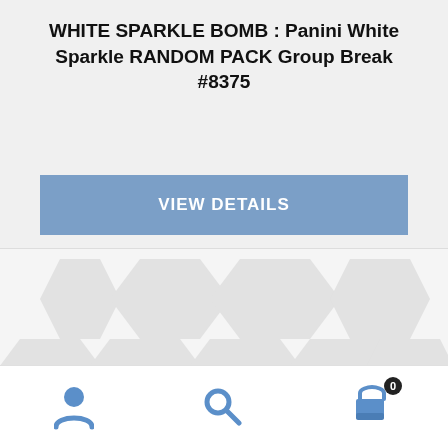WHITE SPARKLE BOMB : Panini White Sparkle RANDOM PACK Group Break #8375
[Figure (screenshot): Blue button labeled VIEW DETAILS on a light gray background]
[Figure (screenshot): Card break website section with watermark shield logos and cursive 'Make It...' text partially visible at bottom]
[Figure (infographic): Bottom navigation bar with user/account icon, search icon, and shopping cart icon with badge showing 0]